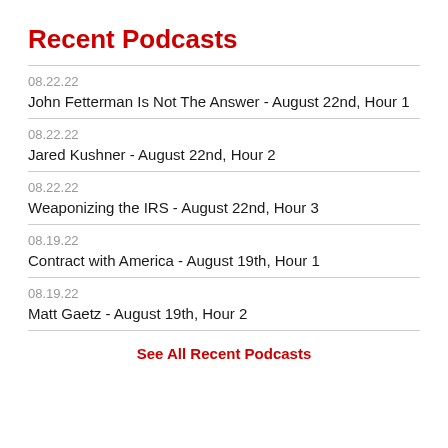Recent Podcasts
08.22.22
John Fetterman Is Not The Answer - August 22nd, Hour 1
08.22.22
Jared Kushner - August 22nd, Hour 2
08.22.22
Weaponizing the IRS - August 22nd, Hour 3
08.19.22
Contract with America - August 19th, Hour 1
08.19.22
Matt Gaetz - August 19th, Hour 2
See All Recent Podcasts